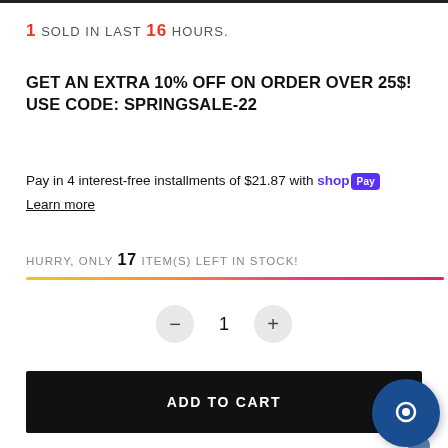1 SOLD IN LAST 16 HOURS.
GET AN EXTRA 10% OFF ON ORDER OVER 25$! USE CODE: SPRINGSALE-22
Pay in 4 interest-free installments of $21.87 with shop Pay
Learn more
HURRY, ONLY 17 ITEM(S) LEFT IN STOCK!
- 1 +
ADD TO CART